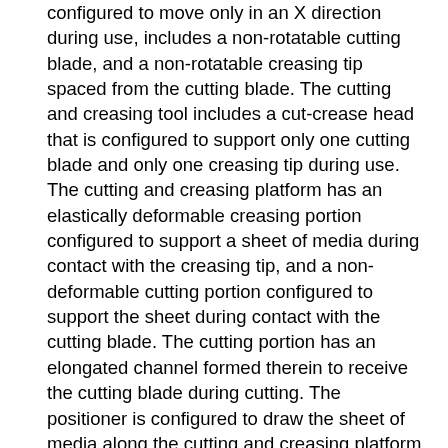configured to move only in an X direction during use, includes a non-rotatable cutting blade, and a non-rotatable creasing tip spaced from the cutting blade. The cutting and creasing tool includes a cut-crease head that is configured to support only one cutting blade and only one creasing tip during use. The cutting and creasing platform has an elastically deformable creasing portion configured to support a sheet of media during contact with the creasing tip, and a non-deformable cutting portion configured to support the sheet during contact with the cutting blade. The cutting portion has an elongated channel formed therein to receive the cutting blade during cutting. The positioner is configured to draw the sheet of media along the cutting and creasing platform in a Y-direction while shifting the sheet back and forth along the Y-direction in response to at least one of a cutting order and a creasing order. The computerized processor is configured to operate the cutting and creasing tool and the positioner. A method of cutting and creasing a sheet of media using the apparatus is also described.
Another embodiment is a system for cutting and creasing sheets of media that includes automatic in-feed and out-